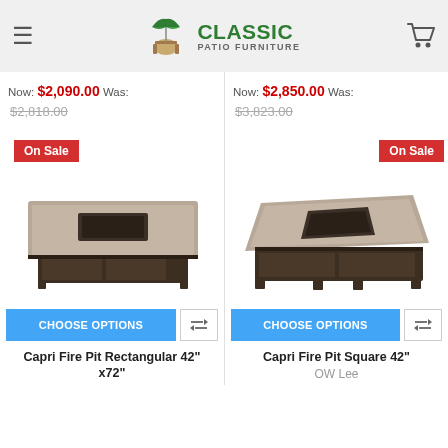Classic Patio Furniture
Now: $2,090.00 Was: $2,818.00
Now: $2,850.00 Was: $3,823.00
On Sale
On Sale
[Figure (photo): Capri Fire Pit Rectangular 42 x72 patio table with dark brown metal base and stone top]
[Figure (photo): Capri Fire Pit Square 42 patio table with dark brown metal base and stone top]
CHOOSE OPTIONS
CHOOSE OPTIONS
Capri Fire Pit Rectangular 42" x72"
Capri Fire Pit Square 42"
OW Lee